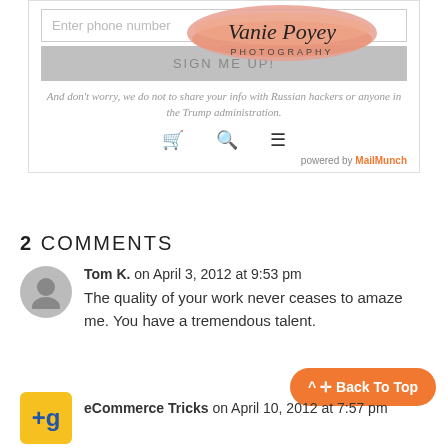[Figure (screenshot): Email signup widget with phone input, Vanie Poyey Photography logo overlay on peach brush stroke, gray SIGN ME UP button, disclaimer text, icons row, and powered by MailMunch footer]
2 COMMENTS
Tom K. on April 3, 2012 at 9:53 pm
The quality of your work never ceases to amaze me. You have a tremendous talent.
eCommerce Tricks on April 10, 2012 at 7:57 pm